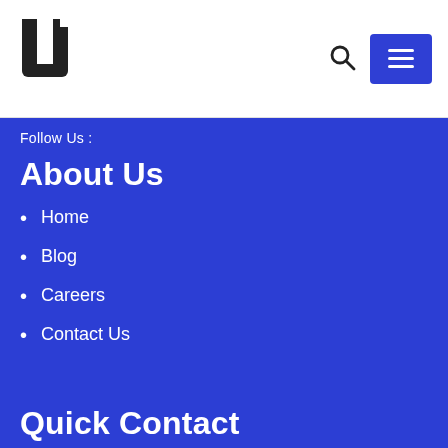[Figure (logo): U-shaped logo with a small square notch at top right, black on white background]
[Figure (illustration): Search icon (magnifying glass) in dark color]
[Figure (illustration): Menu hamburger button in blue square]
Follow Us :
About Us
Home
Blog
Careers
Contact Us
Quick Contact